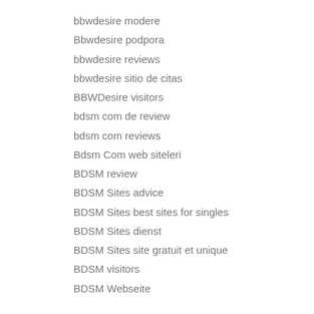bbwdesire modere
Bbwdesire podpora
bbwdesire reviews
bbwdesire sitio de citas
BBWDesire visitors
bdsm com de review
bdsm com reviews
Bdsm Com web siteleri
BDSM review
BDSM Sites advice
BDSM Sites best sites for singles
BDSM Sites dienst
BDSM Sites site gratuit et unique
BDSM visitors
BDSM Webseite